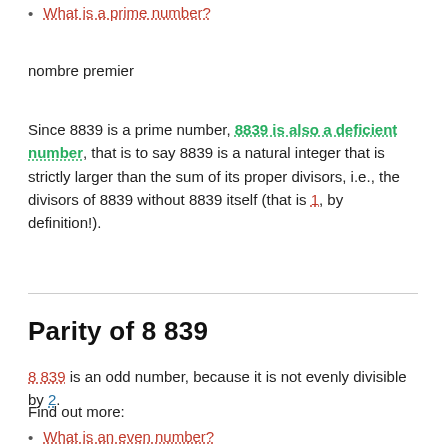What is a prime number?
nombre premier
Since 8839 is a prime number, 8839 is also a deficient number, that is to say 8839 is a natural integer that is strictly larger than the sum of its proper divisors, i.e., the divisors of 8839 without 8839 itself (that is 1, by definition!).
Parity of 8 839
8 839 is an odd number, because it is not evenly divisible by 2.
Find out more:
What is an even number?